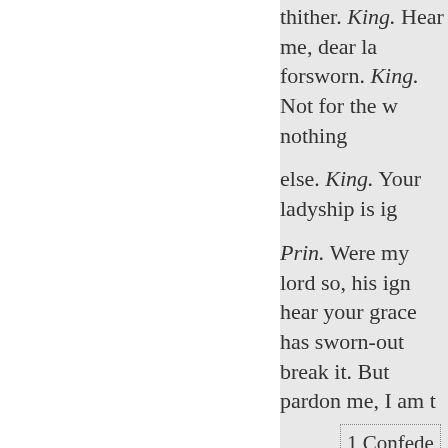thither. King. Hear me, dear la forsworn. King. Not for the w nothing
else. King. Your ladyship is ig
Prin. Were my lord so, his ign hear your grace has sworn-out break it. But pardon me, I am t
1 Confede
Vouchsafe to read the purpose
my coming, And suddenly res
King. Madam, I will, if sudden
Prin. You will the soone For you'll prove perjured,
Biron. Did not I dance wi Ros. Did not I dance with Biron. I know you did. Ros.